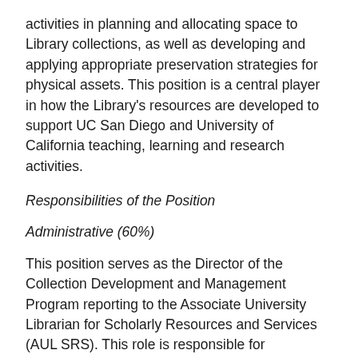activities in planning and allocating space to Library collections, as well as developing and applying appropriate preservation strategies for physical assets. This position is a central player in how the Library's resources are developed to support UC San Diego and University of California teaching, learning and research activities.
Responsibilities of the Position
Administrative (60%)
This position serves as the Director of the Collection Development and Management Program reporting to the Associate University Librarian for Scholarly Resources and Services (AUL SRS). This role is responsible for overseeing the administration and operations of the program including its key areas of collection development, collection management, and the preservation of physical resources. The program consists of approximately 14 FTE. Directly supervises 2 career academics and 1 classified